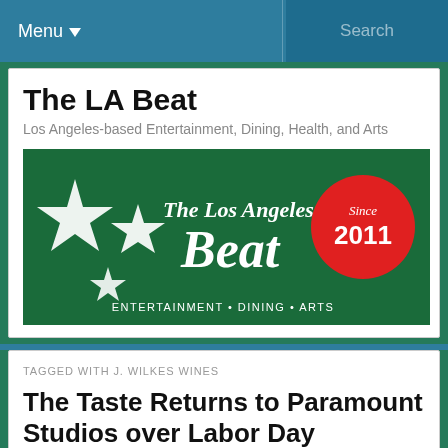Menu  Search
The LA Beat
Los Angeles-based Entertainment, Dining, Health, and Arts
[Figure (logo): The Los Angeles Beat logo on green background with white stars and script text, 'Since 2011' red badge, 'ENTERTAINMENT • DINING • ARTS']
TAGGED WITH J. WILKES WINES
The Taste Returns to Paramount Studios over Labor Day Weekend
The Taste. Photo by Elise Thompson.
The LA Times' Taste event is a Labor Day tradition, something we look forward to every year. This familiar food event features the